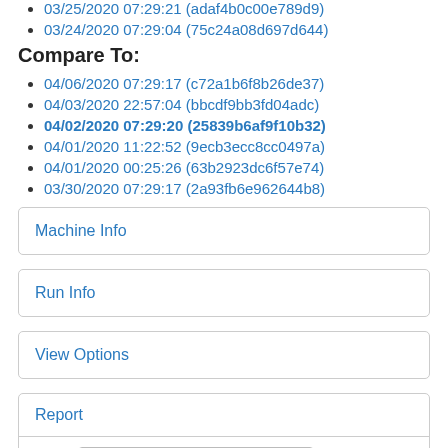03/25/2020 07:29:21 (adaf4b0c00e789d9)
03/24/2020 07:29:04 (75c24a08d697d644)
Compare To:
04/06/2020 07:29:17 (c72a1b6f8b26de37)
04/03/2020 22:57:04 (bbcdf9bb3fd04adc)
04/02/2020 07:29:20 (25839b6af9f10b32)
04/01/2020 11:22:52 (9ecb3ecc8cc0497a)
04/01/2020 00:25:26 (63b2923dc6f57e74)
03/30/2020 07:29:17 (2a93fb6e962644b8)
Machine Info
Run Info
View Options
Report
Filter  Benchmark name regex...